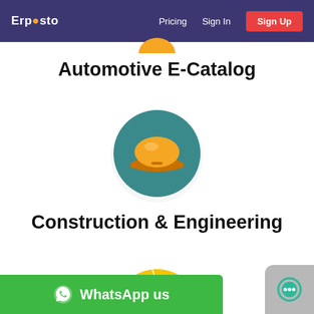Erposto — Pricing | Sign In | Sign Up
Automotive E-Catalog
[Figure (illustration): Teal circle with yellow construction hard hat icon]
Construction & Engineering
[Figure (illustration): Yellow circle with white wind turbine icon (partially visible)]
[Figure (illustration): Green WhatsApp button with label 'WhatsApp us']
[Figure (illustration): Grey rounded square with teal chat bubble icon]